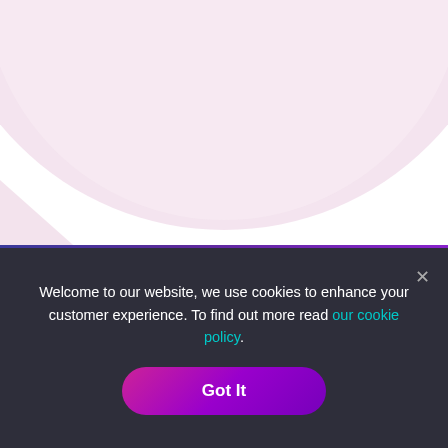[Figure (illustration): Abstract curved background graphic with light pink/lavender gradient arch shape on white background, with a blue-to-purple gradient band below it. Leeds moneyman logo text overlay.]
Leeds moneyman
Welcome to our website, we use cookies to enhance your customer experience. To find out more read our cookie policy.
Got It